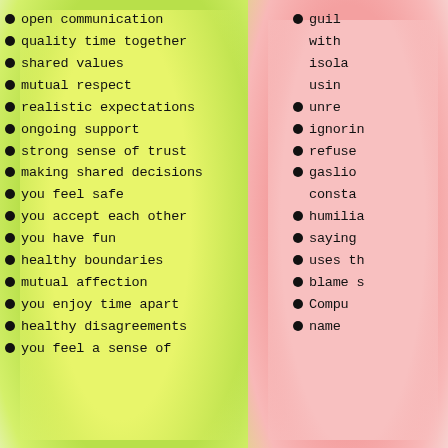open communication
quality time together
shared values
mutual respect
realistic expectations
ongoing support
strong sense of trust
making shared decisions
you feel safe
you accept each other
you have fun
healthy boundaries
mutual affection
you enjoy time apart
healthy disagreements
you feel a sense of
guil
with
isola
usin
unre
ignorin
refuse
gaslio
consta
humilia
saying
uses th
blame s
compu
name